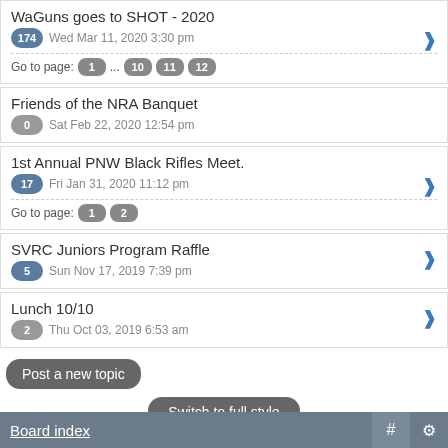WaGuns goes to SHOT - 2020
174 Wed Mar 11, 2020 3:30 pm
Go to page: 1 ... 10 11 12
Friends of the NRA Banquet
0 Sat Feb 22, 2020 12:54 pm
1st Annual PNW Black Rifles Meet.
17 Fri Jan 31, 2020 11:12 pm
Go to page: 1 2
SVRC Juniors Program Raffle
5 Sun Nov 17, 2019 7:39 pm
Lunch 10/10
2 Thu Oct 03, 2019 6:53 am
Post a new topic
Switch to full style
Powered by phpBB © phpBB Group.   phpBB Mobile / SEO by Artodia.
Board index  # ⚙